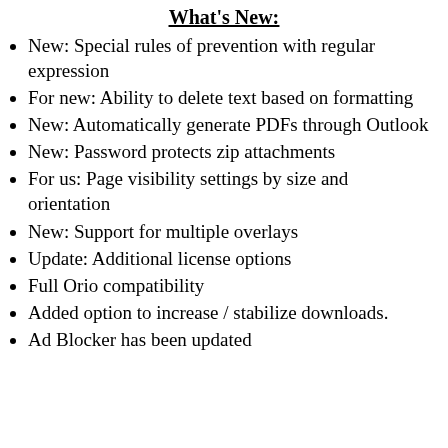What's New:
New: Special rules of prevention with regular expression
For new: Ability to delete text based on formatting
New: Automatically generate PDFs through Outlook
New: Password protects zip attachments
For us: Page visibility settings by size and orientation
New: Support for multiple overlays
Update: Additional license options
Full Orio compatibility
Added option to increase / stabilize downloads.
Ad Blocker has been updated